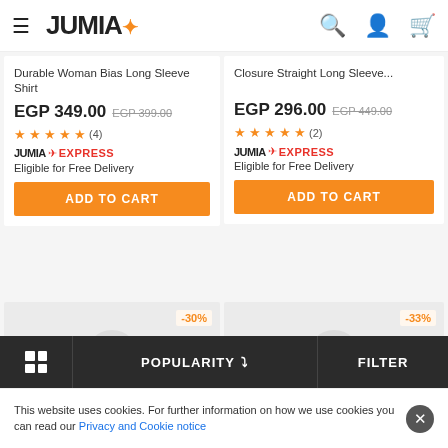JUMIA* (menu, search, account, cart icons)
Durable Woman Bias Long Sleeve Shirt
EGP 349.00 EGP 399.00
★★★★★ (4)
JUMIA EXPRESS
Eligible for Free Delivery
Closure Straight Long Sleeve...
EGP 296.00 EGP 449.00
★★★★★ (2)
JUMIA EXPRESS
Eligible for Free Delivery
[Figure (screenshot): ADD TO CART button (left product card)]
[Figure (screenshot): ADD TO CART button (right product card)]
[Figure (screenshot): Bottom product card with -30% discount badge and wishlist circle icon]
[Figure (screenshot): Bottom product card with -33% discount badge and wishlist circle icon]
Grid | POPULARITY ∨ | FILTER
This website uses cookies. For further information on how we use cookies you can read our Privacy and Cookie notice